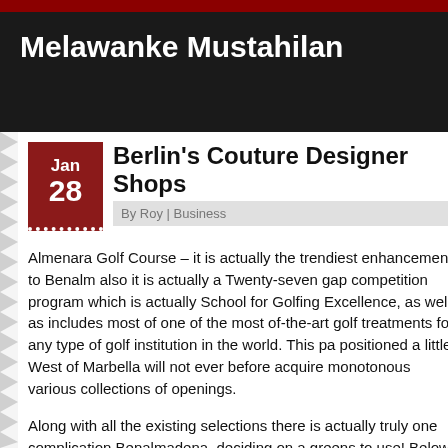Melawanke Mustahilan
Berlin's Couture Designer Shops
By Roy | Business
Almenara Golf Course – it is actually the trendiest enhancement to Benalm… also it is actually a Twenty-seven gap competition program which is actually… School for Golfing Excellence, as well as includes most of one of the most… of-the-art golf treatments for any type of golf institution in the world. This pa… positioned a little West of Marbella will not ever before acquire monotonous… various collections of openings.
Along with all the existing selections there is actually truly one complication… Benalmadena, deciding on a greens to use! Below are actually many ideas… quicker.
Benalmadena consists of additional than Ten of these panoramic programs… Benalmadena Puebla, Benalmadena Costa and also Arroyo de los Angeles…